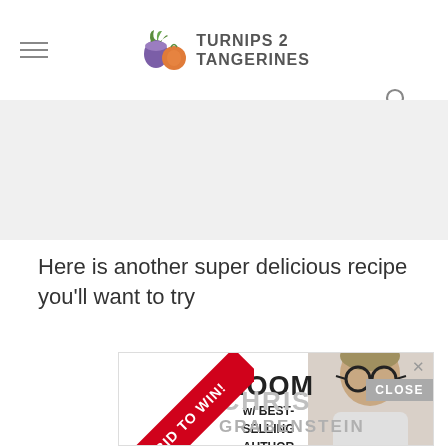TURNIPS 2 TANGERINES
Here is another super delicious recipe you'll want to try
[Figure (screenshot): Advertisement banner: BID TO WIN! ZOOM w/ BEST-SELLING AUTHOR CHRIS GRABENSTEIN, with photo of a man with glasses, and a CLOSE button]